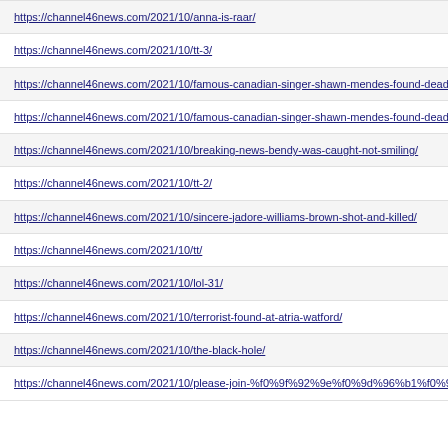https://channel46news.com/2021/10/anna-is-raar/
https://channel46news.com/2021/10/tt-3/
https://channel46news.com/2021/10/famous-canadian-singer-shawn-mendes-found-dead-in-his-res
https://channel46news.com/2021/10/famous-canadian-singer-shawn-mendes-found-dead-in-his-res
https://channel46news.com/2021/10/breaking-news-bendy-was-caught-not-smiling/
https://channel46news.com/2021/10/tt-2/
https://channel46news.com/2021/10/sincere-jadore-williams-brown-shot-and-killed/
https://channel46news.com/2021/10/tt/
https://channel46news.com/2021/10/lol-31/
https://channel46news.com/2021/10/terrorist-found-at-atria-watford/
https://channel46news.com/2021/10/the-black-hole/
https://channel46news.com/2021/10/please-join-%f0%9f%92%9e%f0%9d%96%b1%f0%9d%97%9